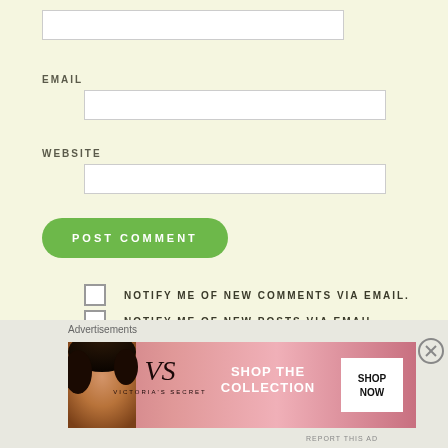EMAIL
WEBSITE
POST COMMENT
NOTIFY ME OF NEW COMMENTS VIA EMAIL.
NOTIFY ME OF NEW POSTS VIA EMAIL.
This site uses Akismet to reduce spam. Learn how your comment data is processed.
Advertisements
[Figure (photo): Victoria's Secret advertisement banner with a woman and 'SHOP THE COLLECTION / SHOP NOW' text]